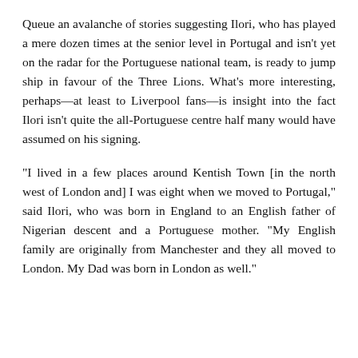Queue an avalanche of stories suggesting Ilori, who has played a mere dozen times at the senior level in Portugal and isn't yet on the radar for the Portuguese national team, is ready to jump ship in favour of the Three Lions. What's more interesting, perhaps—at least to Liverpool fans—is insight into the fact Ilori isn't quite the all-Portuguese centre half many would have assumed on his signing.
"I lived in a few places around Kentish Town [in the north west of London and] I was eight when we moved to Portugal," said Ilori, who was born in England to an English father of Nigerian descent and a Portuguese mother. "My English family are originally from Manchester and they all moved to London. My Dad was born in London as well."